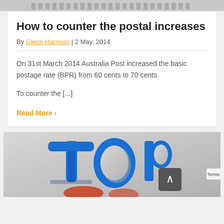[Figure (photo): Blurred/cropped top image strip at the top of the page]
How to counter the postal increases
By Glenn Harrison | 2 May, 2014
On 31st March 2014 Australia Post increased the basic postage rate (BPR) from 60 cents to 70 cents.
To counter the [...]
Read More >
[Figure (photo): 3D blue letters spelling TOP with red elements below, on a gray gradient background]